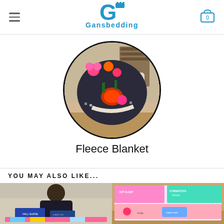Gansbedding — hamburger menu, logo, cart (0)
[Figure (photo): Circular cropped product photo showing a colorful fleece blanket draped over a white armchair in a living room setting. The blanket features dark background with bright floral and decorative patterns.]
Fleece Blanket
YOU MAY ALSO LIKE...
[Figure (photo): Product photo showing a person sitting with a dark fleece blanket with colorful text patterns.]
[Figure (photo): Product photo showing a colorful fleece blanket with pink and teal patterns and motivational text.]